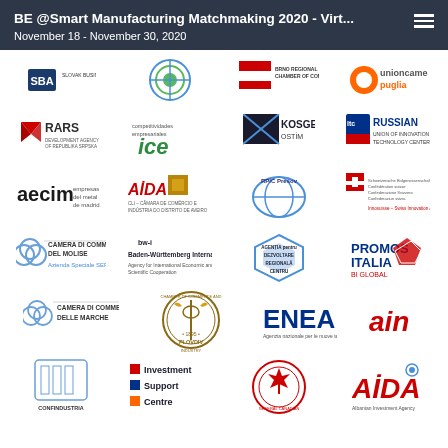BE @Smart Manufacturing Matchmaking 2020 - Virt...
November 18 - November 30, 2020
[Figure (logo): SBA logo - Small Business Agency]
[Figure (logo): Circular green/blue logo]
[Figure (logo): Brno Regional Chamber of Commerce]
[Figure (logo): Unioncamere Puglia]
[Figure (logo): RARS logo]
[Figure (logo): Competitividades Empresariales / ICE logo]
[Figure (logo): KOSGEB OSTIM logo]
[Figure (logo): Russian LTC Union of Innovation and Technology Centers]
[Figure (logo): aecim - empresas del metal de madrid]
[Figure (logo): AIDA - CLI Camera de Comercio e Industria do Distrito de Aveiro]
[Figure (logo): RPIC Prelov]
[Figure (logo): Swiss Confederation - Innosuisse - Swiss Innovation Agency]
[Figure (logo): Camera di Commercio del Molise - Azienda Speciale SERM]
[Figure (logo): bw-i Baden-Württemberg International]
[Figure (logo): Agentia pentru Dezvoltare Regionala Centru]
[Figure (logo): Promos Italia - BI Global]
[Figure (logo): Camera di Commercio delle Marche]
[Figure (logo): Chamber of Commerce and Industry Plovdiv 1895]
[Figure (logo): ENEA logo]
[Figure (logo): ain logo]
[Figure (logo): Confindustria logo (partial)]
[Figure (logo): Investment Support Centre logo (partial)]
[Figure (logo): General Canadian Council logo (partial)]
[Figure (logo): AIDA logo (partial)]